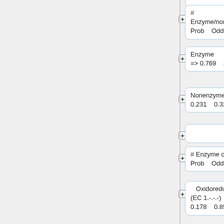[Figure (flowchart): Decision tree / classifier interface showing nodes for Enzyme/nonenzyme classification and Enzyme class classification with probability and odds values. Nodes include: Enzyme/nonenzyme (Prob, Odds), Enzyme (=>0.769, 2.683), Nonenzyme (0.231, 0.324), blank node, Enzyme class (Prob, Odds), Oxidoreductase EC 1.-.-.- (0.178, 0.857), Transferase EC 2.-.-.- (0.238, 0.690), Hydrolase EC 3.-.-.- (0.190, 0.601).]